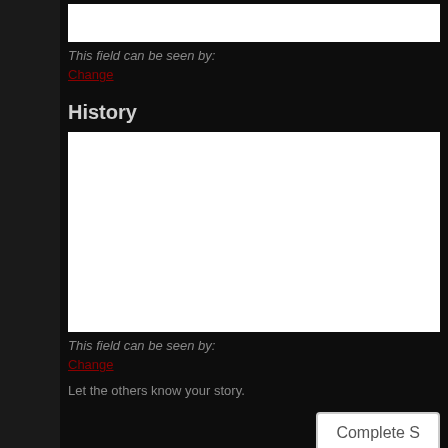This field can be seen by:
Change
History
This field can be seen by:
Change
Let the others know your story.
Complete S
WAT
VIDE